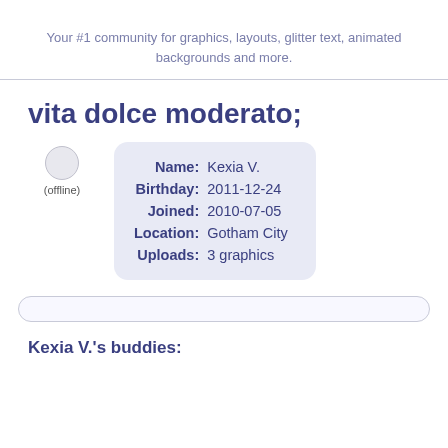Your #1 community for graphics, layouts, glitter text, animated backgrounds and more.
vita dolce moderato;
(offline)
| Field | Value |
| --- | --- |
| Name: | Kexia V. |
| Birthday: | 2011-12-24 |
| Joined: | 2010-07-05 |
| Location: | Gotham City |
| Uploads: | 3 graphics |
Kexia V.'s buddies: